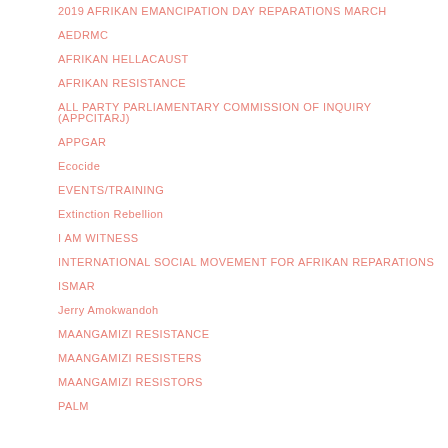2019 AFRIKAN EMANCIPATION DAY REPARATIONS MARCH
AEDRMC
AFRIKAN HELLACAUST
AFRIKAN RESISTANCE
ALL PARTY PARLIAMENTARY COMMISSION OF INQUIRY (APPCITARJ)
APPGAR
Ecocide
EVENTS/TRAINING
Extinction Rebellion
I AM WITNESS
INTERNATIONAL SOCIAL MOVEMENT FOR AFRIKAN REPARATIONS
ISMAR
Jerry Amokwandoh
MAANGAMIZI RESISTANCE
MAANGAMIZI RESISTERS
MAANGAMIZI RESISTORS
PALM